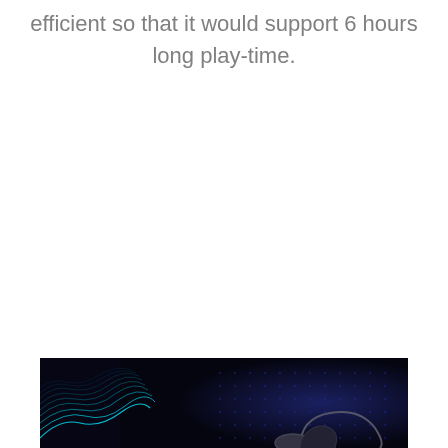efficient so that it would support 6 hours long play-time.
[Figure (photo): Bottom portion of a dark blue/black background image with glowing cyan wave lines on the left side and a partial view of what appears to be headphones or earphones on a dark background with a dot-grid pattern.]